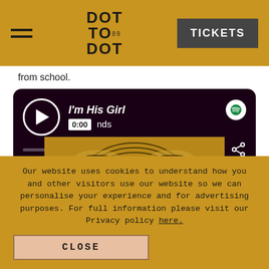DOT TO DOT | TICKETS
from school.
[Figure (screenshot): Spotify embedded music player showing track 'I'm His Girl' by Friends, with play button, 0:00 time badge, progress bar, Spotify logo, share icon, and album artwork showing two mirrored band photos with golden concentric arch pattern background.]
Our website uses cookies to understand how you and other visitors use our website so we can personalise your experience and for advertising purposes. For full information please visit our Privacy policy here.
CLOSE